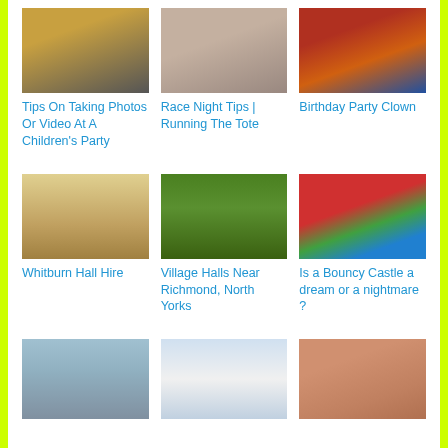[Figure (photo): Person in colorful patterned shirt with arms crossed]
Tips On Taking Photos Or Video At A Children's Party
[Figure (photo): Two people posing together, smiling]
Race Night Tips | Running The Tote
[Figure (photo): Birthday party clown in colorful costume]
Birthday Party Clown
[Figure (photo): Interior of a village hall with chairs and overhead lights]
Whitburn Hall Hire
[Figure (photo): Close-up of green grass with water droplets]
Village Halls Near Richmond, North Yorks
[Figure (photo): Colorful bouncy castle with red, green and blue sections, child playing inside]
Is a Bouncy Castle a dream or a nightmare ?
[Figure (photo): Aerial view of outdoor event area]
[Figure (photo): White marquee tent outdoors]
[Figure (photo): Fabric or textile close-up in brown/copper tones]